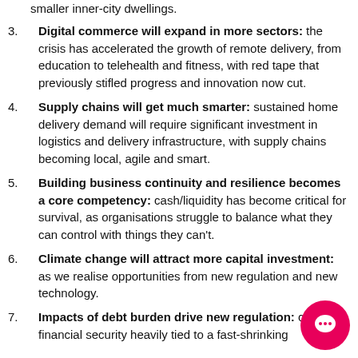smaller inner-city dwellings.
Digital commerce will expand in more sectors: the crisis has accelerated the growth of remote delivery, from education to telehealth and fitness, with red tape that previously stifled progress and innovation now cut.
Supply chains will get much smarter: sustained home delivery demand will require significant investment in logistics and delivery infrastructure, with supply chains becoming local, agile and smart.
Building business continuity and resilience becomes a core competency: cash/liquidity has become critical for survival, as organisations struggle to balance what they can control with things they can't.
Climate change will attract more capital investment: as we realise opportunities from new regulation and new technology.
Impacts of debt burden drive new regulation: current financial security heavily tied to a fast-shrinking